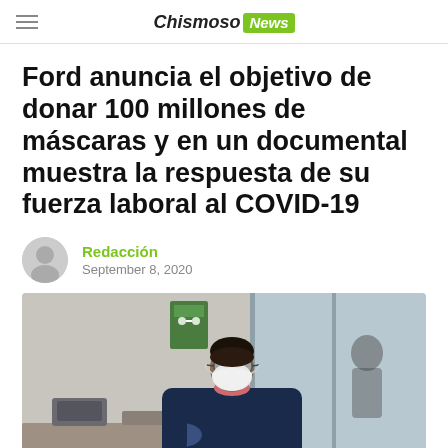Chismoso News
Ford anuncia el objetivo de donar 100 millones de máscaras y en un documental muestra la respuesta de su fuerza laboral al COVID-19
Redacción
September 8, 2020
[Figure (photo): A worker wearing a face mask, safety glasses, and dark hoodie working at a station, presumably in a Ford facility. A social distancing poster is visible in the background.]